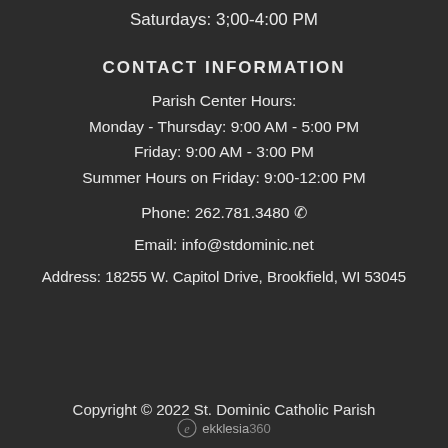Saturdays: 3;00-4:00 PM
CONTACT INFORMATION
Parish Center Hours:
Monday - Thursday: 9:00 AM - 5:00 PM
Friday: 9:00 AM - 3:00 PM
Summer Hours on Friday: 9:00-12:00 PM
Phone: 262.781.3480
Email: info@stdominic.net
Address: 18255 W. Capitol Drive, Brookfield, WI 53045
Copyright © 2022 St. Dominic Catholic Parish
[Figure (logo): ekklesia360 logo with stylized e icon]